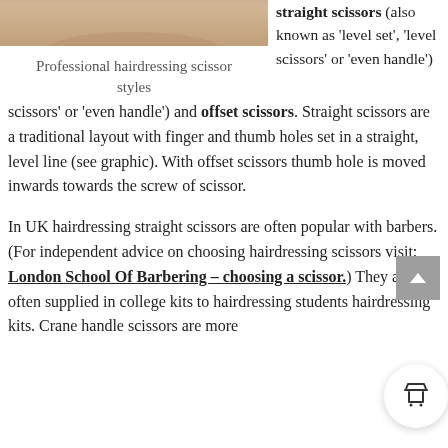[Figure (photo): Photo of a person — partial view of hairdressing subject, cropped at top]
Professional hairdressing scissor styles
straight scissors (also known as 'level set', 'level scissors' or 'even handle') and offset scissors. Straight scissors are a traditional layout with finger and thumb holes set in a straight, level line (see graphic). With offset scissors thumb hole is moved inwards towards the screw of scissor.
In UK hairdressing straight scissors are often popular with barbers. (For independent advice on choosing hairdressing scissors visit: London School Of Barbering – choosing a scissor.) They are often supplied in college kits to hairdressing students hairdressing kits. Crane handle scissors are more